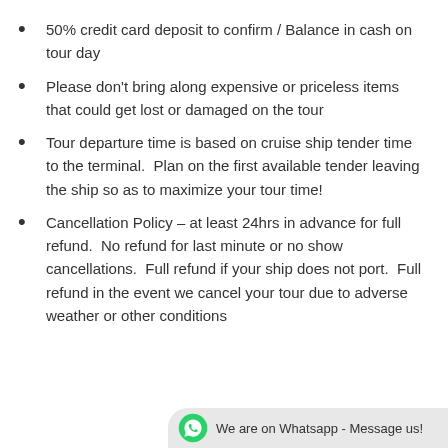50% credit card deposit to confirm / Balance in cash on tour day
Please don’t bring along expensive or priceless items that could get lost or damaged on the tour
Tour departure time is based on cruise ship tender time to the terminal.  Plan on the first available tender leaving the ship so as to maximize your tour time!
Cancellation Policy – at least 24hrs in advance for full refund.  No refund for last minute or no show cancellations.  Full refund if your ship does not port.  Full refund in the event we cancel your tour due to adverse weather or other conditions